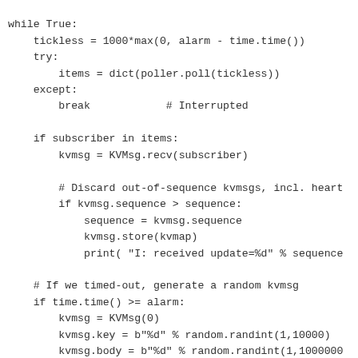while True:
    tickless = 1000*max(0, alarm - time.time())
    try:
        items = dict(poller.poll(tickless))
    except:
        break            # Interrupted

    if subscriber in items:
        kvmsg = KVMsg.recv(subscriber)

        # Discard out-of-sequence kvmsgs, incl. heart
        if kvmsg.sequence > sequence:
            sequence = kvmsg.sequence
            kvmsg.store(kvmap)
            print( "I: received update=%d" % sequence

    # If we timed-out, generate a random kvmsg
    if time.time() >= alarm:
        kvmsg = KVMsg(0)
        kvmsg.key = b"%d" % random.randint(1,10000)
        kvmsg.body = b"%d" % random.randint(1,1000000
        kvmsg.send(publisher)
        kvmsg.store(kvmap)
        alarm = time.time() + 1.

print( " Interrupted\n%d messages in" % sequence )